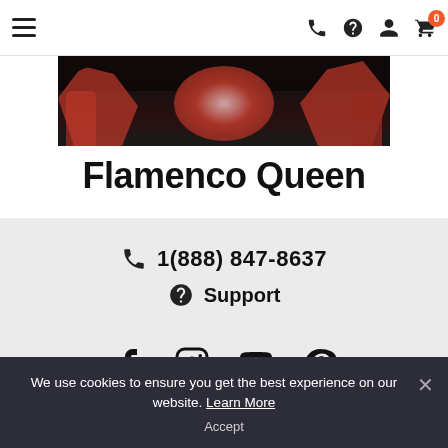Navigation bar with hamburger menu, phone icon, help icon, user icon, and cart icon with badge 0
[Figure (photo): Flamenco shoes photo — dark background with red/pink flamenco dance shoes]
Flamenco Queen
1(888) 847-8637
Support
[Figure (other): Social media icons: Facebook, Instagram, YouTube, Pinterest]
We use cookies to ensure you get the best experience on our website. Learn More
Accept